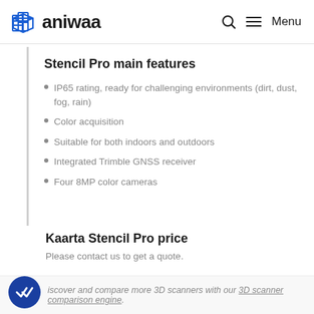aniwaa — Menu
Stencil Pro main features
IP65 rating, ready for challenging environments (dirt, dust, fog, rain)
Color acquisition
Suitable for both indoors and outdoors
Integrated Trimble GNSS receiver
Four 8MP color cameras
Kaarta Stencil Pro price
Please contact us to get a quote.
Discover and compare more 3D scanners with our 3D scanner comparison engine.